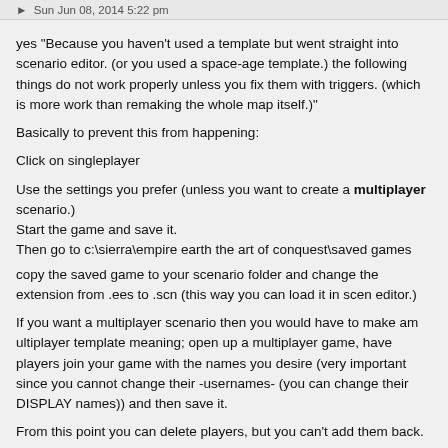Sun Jun 08, 2014 5:22 pm
yes "Because you haven't used a template but went straight into scenario editor. (or you used a space-age template.) the following things do not work properly unless you fix them with triggers. (which is more work than remaking the whole map itself.)"
Basically to prevent this from happening:
Click on singleplayer
Use the settings you prefer (unless you want to create a multiplayer scenario.)
Start the game and save it.
Then go to c:\sierra\empire earth the art of conquest\saved games
copy the saved game to your scenario folder and change the extension from .ees to .scn (this way you can load it in scen editor.)
If you want a multiplayer scenario then you would have to make am ultiplayer template meaning; open up a multiplayer game, have players join your game with the names you desire (very important since you cannot change their -usernames- (you can change their DISPLAY names)) and then save it.
From this point you can delete players, but you can't add them back.